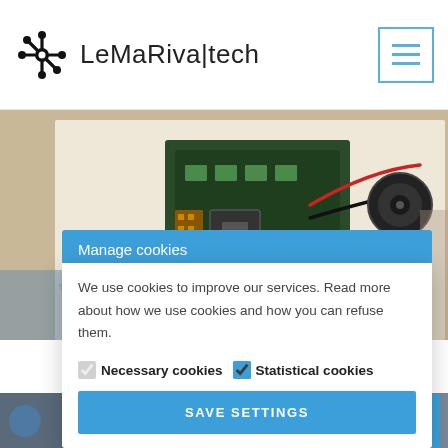LeMaRiva|tech
[Figure (photo): Electronics/microcontroller board with red and black wires connected to a speaker/buzzer, placed on a white paper surface]
Manage cookies
We use cookies to improve our services. Read more about how we use cookies and how you can refuse them.
Necessary cookies
Statistical cookies
SAVE SETTINGS
[Figure (photo): Partially visible bottom photos strip]